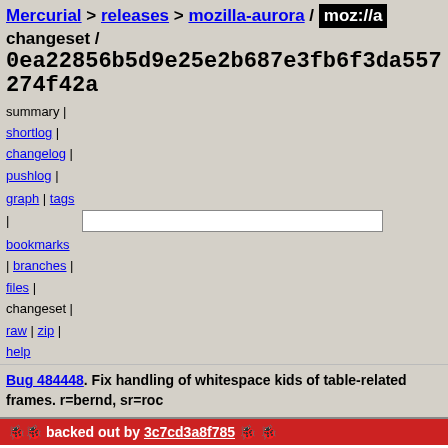Mercurial > releases > mozilla-aurora / moz://a changeset / 0ea22856b5d9e25e2b687e3fb6f3da557274f42a
summary | shortlog | changelog | pushlog | graph | tags | bookmarks | branches | files | changeset | raw | zip | help
Bug 484448. Fix handling of whitespace kids of table-related frames. r=bernd, sr=roc
|  |  |
| --- | --- |
| backed out by 3c7cd3a8f785 |  |
| author | Boris Zbarsky <bzbarsky@mit.edu> |
|  | Wed, 08 Apr 2009 12:56:16 -0400 (2009-04-08) |
| changeset 27086 | 0ea22856b5d9e25e2b687e3fb6f3da557274f42a |
| parent 27085 | a41ec1a6b8fcf08db5ce425827c872899f429776 |
| child 27087 | c7018b3ca9416249d41901458cbe05ae2d462e32 |
| child 27095 | 3c7cd3a8f785ec9a09fb4b5244f1c095f26c6fc1 |
| push id | unknown |
| push user | unknown |